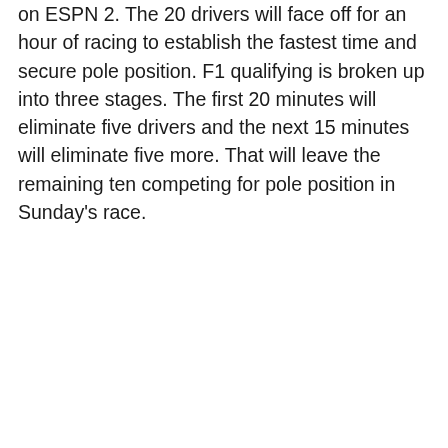on ESPN 2. The 20 drivers will face off for an hour of racing to establish the fastest time and secure pole position. F1 qualifying is broken up into three stages. The first 20 minutes will eliminate five drivers and the next 15 minutes will eliminate five more. That will leave the remaining ten competing for pole position in Sunday's race.